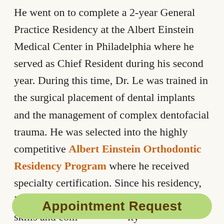He went on to complete a 2-year General Practice Residency at the Albert Einstein Medical Center in Philadelphia where he served as Chief Resident during his second year. During this time, Dr. Le was trained in the surgical placement of dental implants and the management of complex dentofacial trauma. He was selected into the highly competitive Albert Einstein Orthodontic Residency Program where he received specialty certification. Since his residency, Dr. Le has integrated his meticulous art skills and com[munity]
Appointment Request